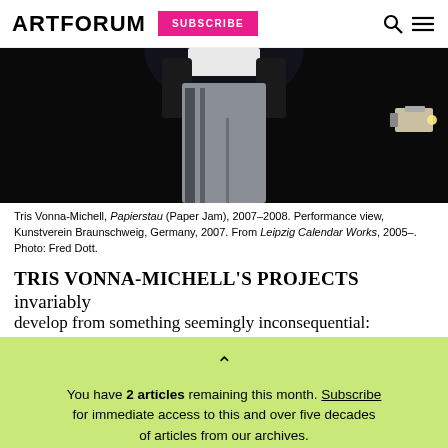ARTFORUM  SUBSCRIBE
[Figure (photo): Dark performance photograph showing a person from the waist down wearing grey trousers, with a camera/light visible on the right side against a black background.]
Tris Vonna-Michell, Papierstau (Paper Jam), 2007–2008. Performance view, Kunstverein Braunschweig, Germany, 2007. From Leipzig Calendar Works, 2005–. Photo: Fred Dott.
TRIS VONNA-MICHELL'S PROJECTS invariably develop from something seemingly inconsequential:
You have 2 articles remaining this month. Subscribe for immediate access to this and over five decades of articles from our archives.